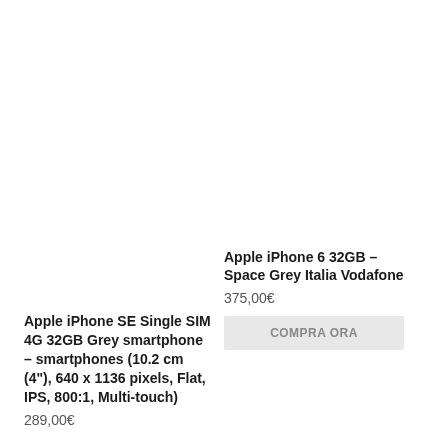Apple iPhone 6 32GB – Space Grey Italia Vodafone
375,00€
COMPRA ORA
Apple iPhone SE Single SIM 4G 32GB Grey smartphone – smartphones (10.2 cm (4"), 640 x 1136 pixels, Flat, IPS, 800:1, Multi-touch)
289,00€